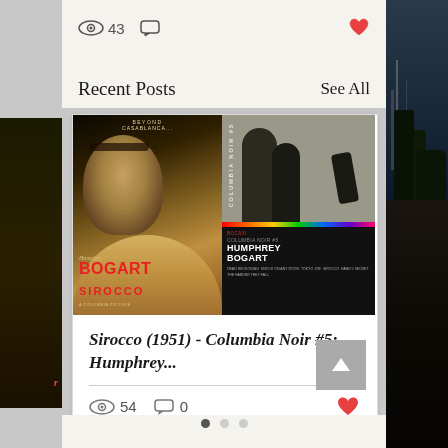43  [view icon] [comment icon]  [heart icon]
Recent Posts
See All
[Figure (photo): Movie poster card showing Sirocco (1951) and Columbia Noir #5 Humphrey Bogart collection cover side by side]
Sirocco (1951) - Columbia Noir #5: Humphrey...
54  0  [heart icon]
• • •